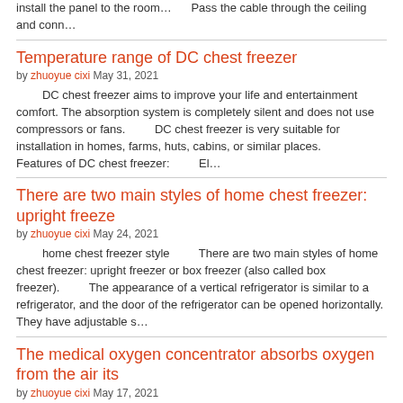install the panel to the room… Pass the cable through the ceiling and conn…
Temperature range of DC chest freezer
by zhuoyue cixi May 31, 2021
DC chest freezer aims to improve your life and entertainment comfort. The absorption system is completely silent and does not use compressors or fans.        DC chest freezer is very suitable for installation in homes, farms, huts, cabins, or similar places.        Features of DC chest freezer:        El…
There are two main styles of home chest freezer: upright freeze
by zhuoyue cixi May 24, 2021
home chest freezer style        There are two main styles of home chest freezer: upright freezer or box freezer (also called box freezer).        The appearance of a vertical refrigerator is similar to a refrigerator, and the door of the refrigerator can be opened horizontally. They have adjustable s…
The medical oxygen concentrator absorbs oxygen from the air its
by zhuoyue cixi May 17, 2021
What is a medical oxygen concentrator?        The oxygen distribution of the medical oxygen concentrator is almost the same as that of the